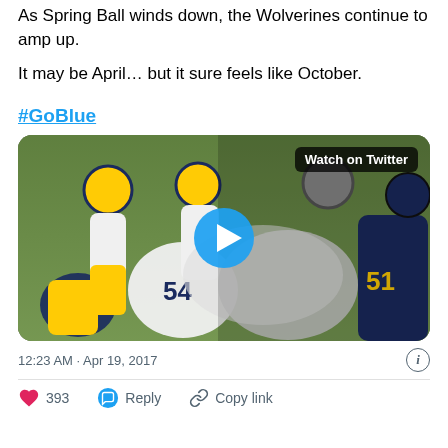As Spring Ball winds down, the Wolverines continue to amp up.
It may be April… but it sure feels like October.
#GoBlue
[Figure (photo): Michigan Wolverines football players in a tackle during spring practice, with a 'Watch on Twitter' badge and a blue play button overlay.]
12:23 AM · Apr 19, 2017
393  Reply  Copy link